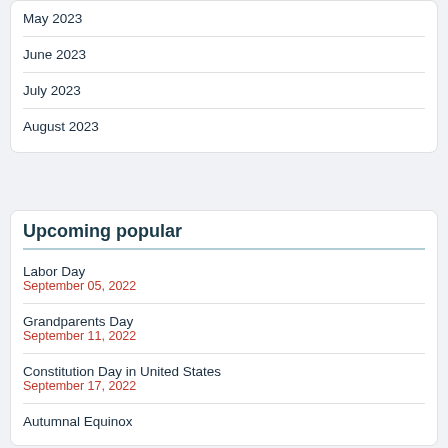May 2023
June 2023
July 2023
August 2023
Upcoming popular
Labor Day
September 05, 2022
Grandparents Day
September 11, 2022
Constitution Day in United States
September 17, 2022
Autumnal Equinox